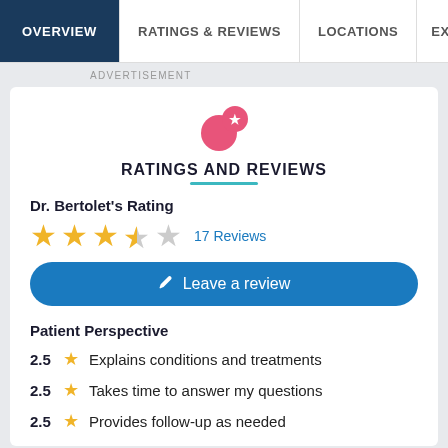OVERVIEW | RATINGS & REVIEWS | LOCATIONS | EX...
ADVERTISEMENT
[Figure (illustration): Pink circular icon with a star and a smaller overlapping circle, representing ratings/reviews badge]
RATINGS AND REVIEWS
Dr. Bertolet's Rating
[Figure (other): Star rating: 3.5 out of 5 stars (3 filled, 1 half, 1 empty) followed by '17 Reviews' link]
17 Reviews
Leave a review
Patient Perspective
2.5 ★  Explains conditions and treatments
2.5 ★  Takes time to answer my questions
2.5 ★  Provides follow-up as needed